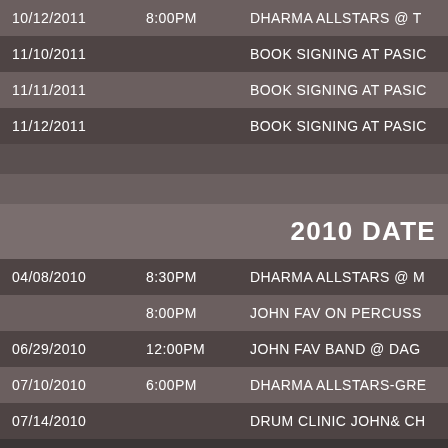| Date | Time | Event |
| --- | --- | --- |
| 10/12/2011 | 8:00PM | DHARMA ALLSTARS @ T |
| 11/10/2011 |  | BOOK SIGNING AT PASIC |
| 11/11/2011 |  | BOOK SIGNING AT PASIC |
| 11/12/2011 |  | BOOK SIGNING AT PASIC |
|  |  |  |
|  |  |  |
|  |  | 2010 DATES |
| 04/08/2010 | 8:30PM | DHARMA ALLSTARS @ M |
|  | 8:00PM | JOHN FAV ON PERCUSS |
| 06/29/2010 | 12:00PM | JOHN FAV BAND @ DAG |
| 07/10/2010 | 6:00PM | DHARMA ALLSTARS-GRE |
| 07/14/2010 |  | DRUM CLINIC JOHN& CH |